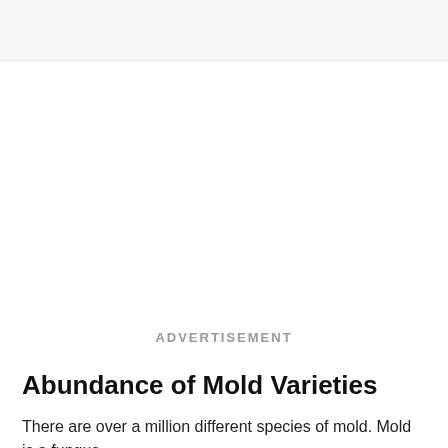[Figure (other): Advertisement banner placeholder area at the top of the page with light gray background]
ADVERTISEMENT
Abundance of Mold Varieties
There are over a million different species of mold. Mold is a fungus